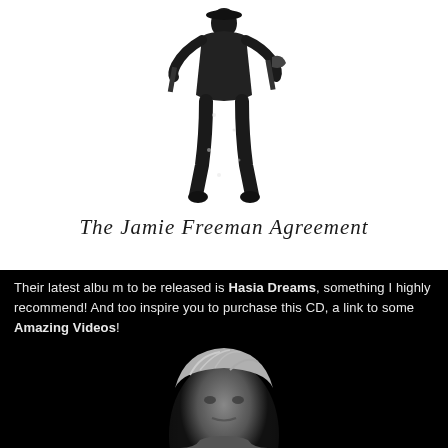[Figure (illustration): Black and white illustration of a person standing, holding an axe or tool, on a white background. Below the figure is cursive script text reading 'The Jamie Freeman Agreement'.]
Their latest album to be released is Hasia Dreams, something I highly recommend! And too inspire you to purchase this CD, a link to some Amazing Videos!
[Figure (photo): Black and white photo of a person's head and upper body against a dark background, showing short grey/light hair.]